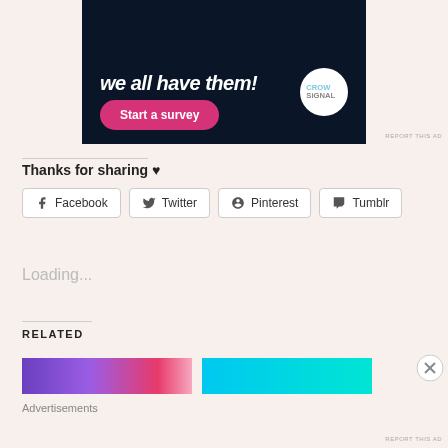[Figure (screenshot): Advertisement banner showing dark navy background with white italic bold text 'we all have them!' and a pink rounded 'Start a survey' button, with Crowdsignal circular logo on the right.]
REPORT THIS AD
Thanks for sharing ♥
Facebook
Twitter
Pinterest
Tumblr
Loading...
RELATED
[Figure (photo): Purple to pink gradient thumbnail image]
[Figure (photo): Cyan/teal gradient thumbnail image]
Advertisements
REPORT THIS AD